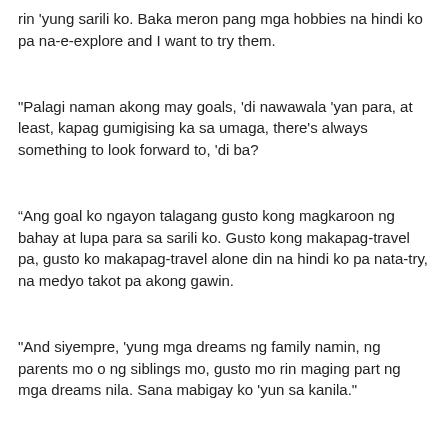rin 'yung sarili ko. Baka meron pang mga hobbies na hindi ko pa na-e-explore and I want to try them.
"Palagi naman akong may goals, 'di nawawala 'yan para, at least, kapag gumigising ka sa umaga, there's always something to look forward to, 'di ba?
“Ang goal ko ngayon talagang gusto kong magkaroon ng bahay at lupa para sa sarili ko. Gusto kong makapag-travel pa, gusto ko makapag-travel alone din na hindi ko pa nata-try, na medyo takot pa akong gawin.
"And siyempre, 'yung mga dreams ng family namin, ng parents mo o ng siblings mo, gusto mo rin maging part ng mga dreams nila. Sana mabigay ko 'yun sa kanila."